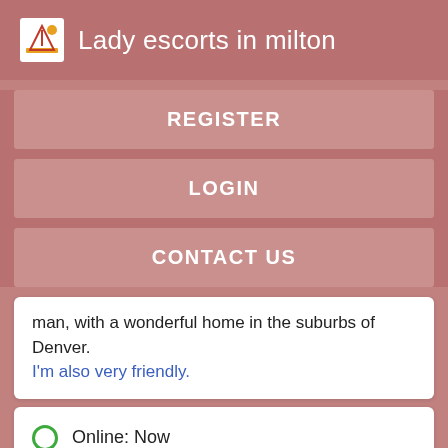Lady escorts in milton
REGISTER
LOGIN
CONTACT US
man, with a wonderful home in the suburbs of Denver. I'm also very friendly.
Online: Now